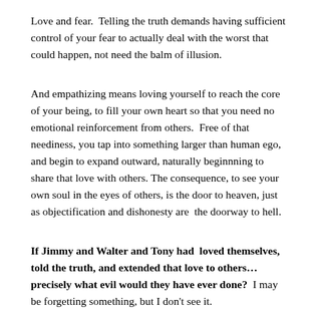Love and fear.  Telling the truth demands having sufficient control of your fear to actually deal with the worst that could happen, not need the balm of illusion.
And empathizing means loving yourself to reach the core of your being, to fill your own heart so that you need no emotional reinforcement from others.  Free of that neediness, you tap into something larger than human ego, and begin to expand outward, naturally beginnning to share that love with others. The consequence, to see your own soul in the eyes of others, is the door to heaven, just as objectification and dishonesty are  the doorway to hell.
If Jimmy and Walter and Tony had  loved themselves, told the truth, and extended that love to others…precisely what evil would they have ever done?  I may be forgetting something, but I don't see it.